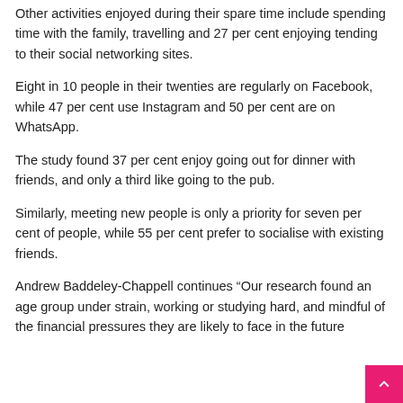Other activities enjoyed during their spare time include spending time with the family, travelling and 27 per cent enjoying tending to their social networking sites.
Eight in 10 people in their twenties are regularly on Facebook, while 47 per cent use Instagram and 50 per cent are on WhatsApp.
The study found 37 per cent enjoy going out for dinner with friends, and only a third like going to the pub.
Similarly, meeting new people is only a priority for seven per cent of people, while 55 per cent prefer to socialise with existing friends.
Andrew Baddeley-Chappell continues “Our research found an age group under strain, working or studying hard, and mindful of the financial pressures they are likely to face in the future